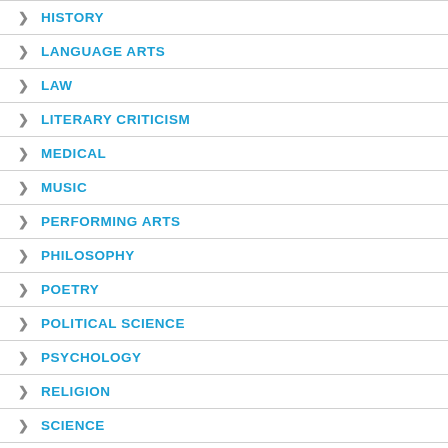HISTORY
LANGUAGE ARTS
LAW
LITERARY CRITICISM
MEDICAL
MUSIC
PERFORMING ARTS
PHILOSOPHY
POETRY
POLITICAL SCIENCE
PSYCHOLOGY
RELIGION
SCIENCE